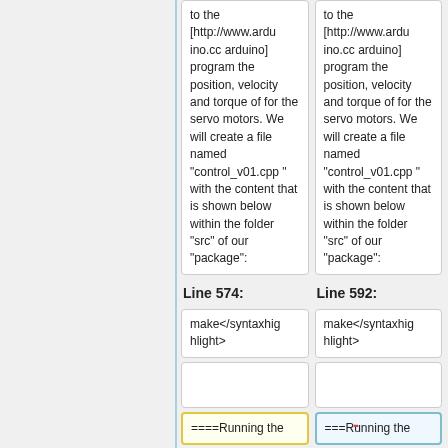to the [http://www.arduino.cc arduino] program the position, velocity and torque of for the servo motors. We will create a file named "control_v01.cpp" with the content that is shown below within the folder "src" of our "package":
to the [http://www.arduino.cc arduino] program the position, velocity and torque of for the servo motors. We will create a file named "control_v01.cpp" with the content that is shown below within the folder "src" of our "package":
Line 574:
Line 592:
make</syntaxhighlight>
make</syntaxhighlight>
====Running the
===Running the